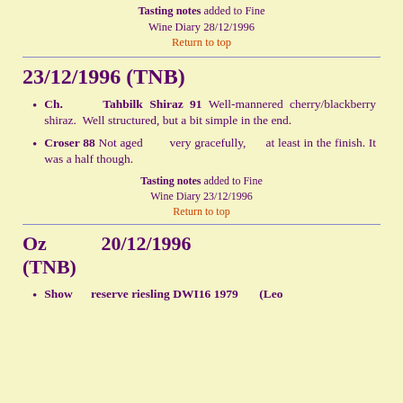Tasting notes added to Fine Wine Diary 28/12/1996
Return to top
23/12/1996 (TNB)
Ch. Tahbilk Shiraz 91 Well-mannered cherry/blackberry shiraz. Well structured, but a bit simple in the end.
Croser 88 Not aged very gracefully, at least in the finish. It was a half though.
Tasting notes added to Fine Wine Diary 23/12/1996
Return to top
Oz 20/12/1996 (TNB)
Show reserve riesling DWI16 1979 (Leo...